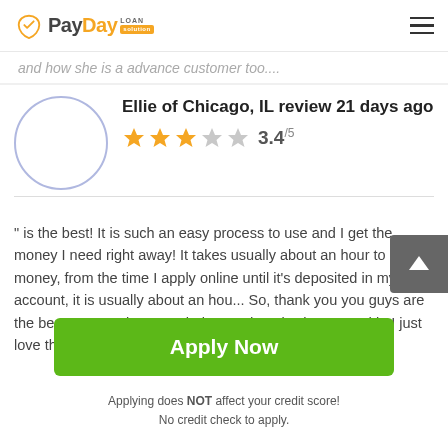PayDay Loan Solution
and how she is a advance customer too....
Ellie of Chicago, IL review 21 days ago
3.4/5 (3.4 out of 5 stars)
" is the best! It is such an easy process to use and I get the money I need right away! It takes usually about an hour to get the money, from the time I apply online until it's deposited in my account, it is usually about an hou... So, thank you you guys are the best! I appreciate your help... and get it when I need it! I just love the online application
Apply Now
Applying does NOT affect your credit score!
No credit check to apply.